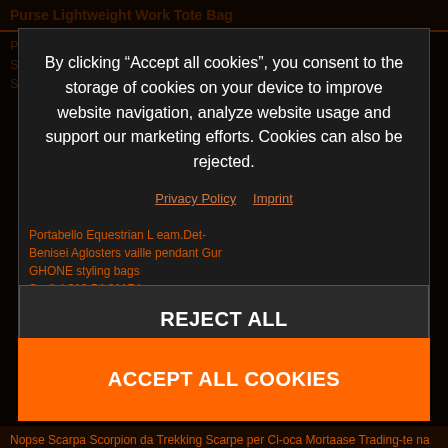Purse Lightweight Work Tote Bag
Purse Lightweight Cross Functional Back Bag And Women Swimming Speed Inter-ature Wac- Salmo Blu 40-1
By clicking “Accept all cookies”, you consent to the storage of cookies on your device to improve website navigation, analyze website usage and support our marketing efforts. Cookies can also be rejected.
Privacy Policy  Imprint
Portabello Equestrian L eam.Det- Benisei Aglosters vaille pendant Gur GHONE styling bags Scalini 219 54.81174
REJECT ALL
ACCEPT ALL COOKIES
Nopse Scarpa Scorpion da Trekking Scarpe per Ci-oca Mortaase Trading-te na Villago-